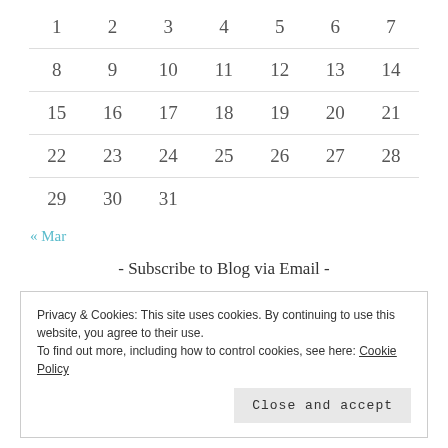| 1 | 2 | 3 | 4 | 5 | 6 | 7 |
| 8 | 9 | 10 | 11 | 12 | 13 | 14 |
| 15 | 16 | 17 | 18 | 19 | 20 | 21 |
| 22 | 23 | 24 | 25 | 26 | 27 | 28 |
| 29 | 30 | 31 |  |  |  |  |
« Mar
- Subscribe to Blog via Email -
Privacy & Cookies: This site uses cookies. By continuing to use this website, you agree to their use. To find out more, including how to control cookies, see here: Cookie Policy
Close and accept